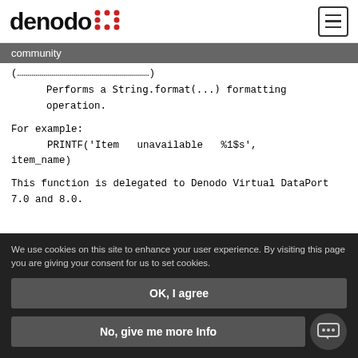denodo community
Performs a String.format(...) formatting operation.
For example:
      PRINTF('Item   unavailable   %1$s', item_name)
This function is delegated to Denodo Virtual DataPort 7.0 and 8.0.
We use cookies on this site to enhance your user experience. By visiting this page you are giving your consent for us to set cookies.
OK, I agree
No, give me more Info